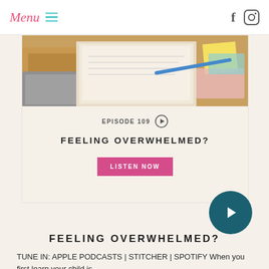Menu
[Figure (screenshot): Website screenshot showing a podcast episode card with a photo of a cluttered desk with papers and folders, episode 109 label with play button, title 'FEELING OVERWHELMED?', a pink 'LISTEN NOW' button, and a large teal play button circle.]
FEELING OVERWHELMED?
TUNE IN: APPLE PODCASTS | STITCHER | SPOTIFY When you first learn your child is